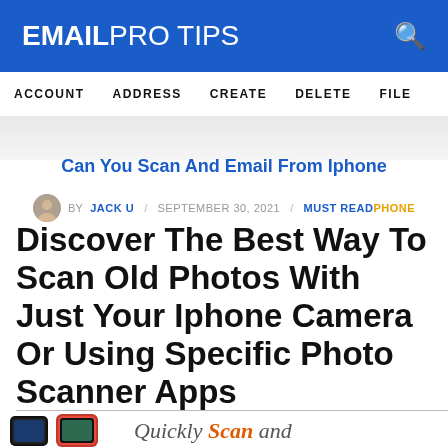EMAIL PRO TIPS
ACCOUNT   ADDRESS   CREATE   DELETE   FILE
Can You Scan And Email From Iphone
BY JACK U / SEPTEMBER 30, 2021 / MUST READPHONE
Discover The Best Way To Scan Old Photos With Just Your Iphone Camera Or Using Specific Photo Scanner Apps
[Figure (photo): iPhone device and partial ad with text Quickly Scan and]